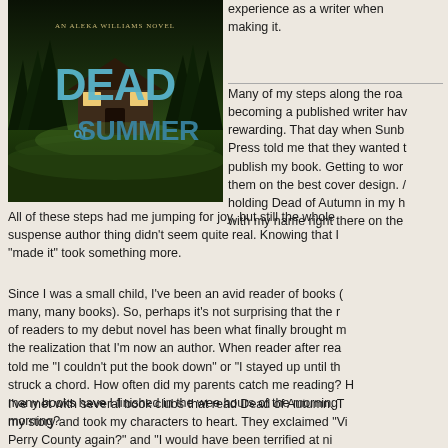[Figure (illustration): Book cover for 'Dead of Summer', an Aleka Williams Novel. Dark atmospheric cover featuring a log cabin in a wooded setting at night. Large stylized text reads 'DEAD OF SUMMER' in blue/teal letters.]
experience as a writer when making it.
Many of my steps along the road to becoming a published writer have been rewarding. That day when Sunb Press told me that they wanted to publish my book. Getting to work them on the best cover design. A holding Dead of Autumn in my h with my name right there on the
All of these steps had me jumping for joy, but still the whole suspense author thing didn't seem quite real. Knowing that "made it" took something more.
Since I was a small child, I've been an avid reader of books (many, many books). So, perhaps it's not surprising that the of readers to my debut novel has been what finally brought the realization that I'm now an author. When reader after re told me "I couldn't put the book down" or "I stayed up until t struck a chord. How often did my parents catch me reading many books have I finished in the wee hours of the mornin morning?
I've met with several book clubs that read Dead of Autumn. my story and took my characters to heart. They exclaimed Perry County again?" and "I would have been terrified at ni